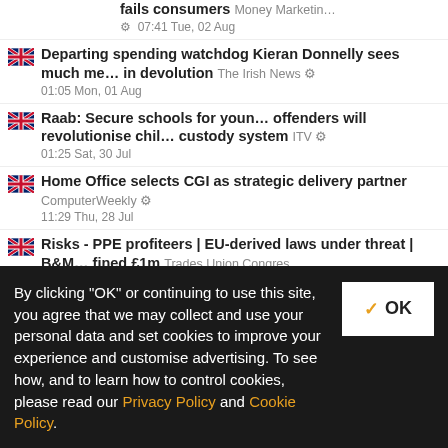fails consumers  Money Marketing  07:41 Tue, 02 Aug
Departing spending watchdog Kieran Donnelly sees much more in devolution  The Irish News  01:05 Mon, 01 Aug
Raab: Secure schools for young offenders will revolutionise child custody system  ITV  01:25 Sat, 30 Jul
Home Office selects CGI as strategic delivery partner  ComputerWeekly  11:29 Thu, 28 Jul
Risks - PPE profiteers | EU-derived laws under threat | B&M fined £1m  Trades Union Congress (Press Release)  10:09 Thu, 28
Government criticised over £77 Randox contracts  BBC
By clicking "OK" or continuing to use this site, you agree that we may collect and use your personal data and set cookies to improve your experience and customise advertising. To see how, and to learn how to control cookies, please read our Privacy Policy and Cookie Policy.